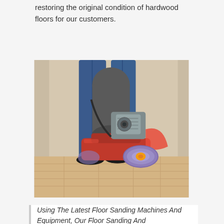restoring the original condition of hardwood floors for our customers.
[Figure (photo): A person using a floor sanding machine on hardwood floors. The machine is red and orange with a purple/grey sanding drum, and a motor visible on top. The operator is wearing blue jeans and dark shoes.]
Using The Latest Floor Sanding Machines And Equipment, Our Floor Sanding And